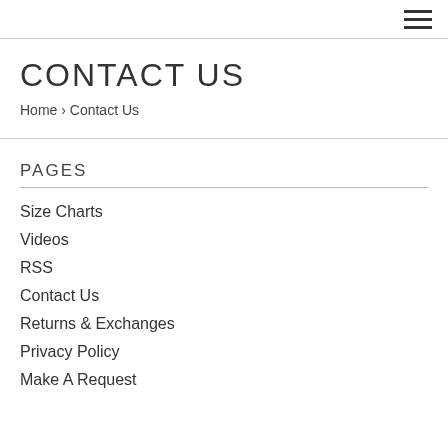≡ (hamburger menu icon)
CONTACT US
Home › Contact Us
PAGES
Size Charts
Videos
RSS
Contact Us
Returns & Exchanges
Privacy Policy
Make A Request